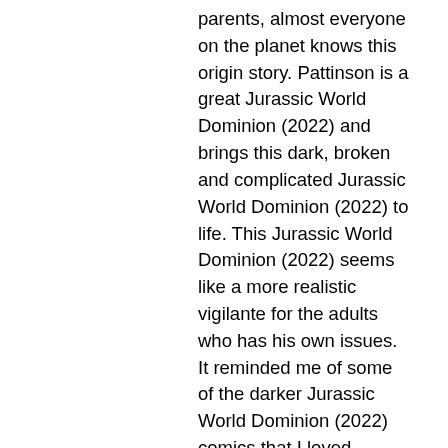parents, almost everyone on the planet knows this origin story. Pattinson is a great Jurassic World Dominion (2022) and brings this dark, broken and complicated Jurassic World Dominion (2022) to life. This Jurassic World Dominion (2022) seems like a more realistic vigilante for the adults who has his own issues. It reminded me of some of the darker Jurassic World Dominion (2022) comics that I loved reading. Cat woman, Penguin and Gordon were a great support to this film. Amazing make up for Collin Farrell. Great direction that really set a somber setting. The only thing I would say is there was so much going on in this film that certain elements could have their own storylines. I liked how they showed the radicalisation of people that occurred online, something sadly happening a lot these days. A great intriguing universe has spawned from this Jurassic World Dominion (2022). So many great characters, backstories and enigmas. I